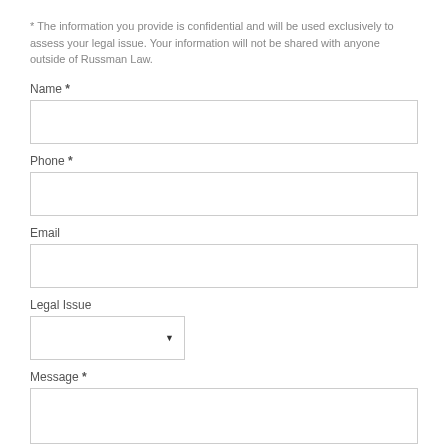* The information you provide is confidential and will be used exclusively to assess your legal issue. Your information will not be shared with anyone outside of Russman Law.
Name *
Phone *
Email
Legal Issue
Message *